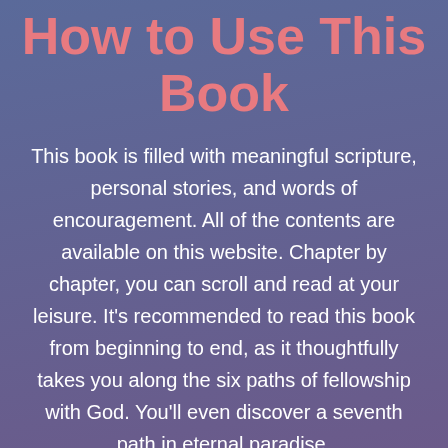How to Use This Book
This book is filled with meaningful scripture, personal stories, and words of encouragement. All of the contents are available on this website. Chapter by chapter, you can scroll and read at your leisure. It's recommended to read this book from beginning to end, as it thoughtfully takes you along the six paths of fellowship with God. You'll even discover a seventh path in eternal paradise.
As a tip, it will help to remember where you left off with each reading. This a free-flowing experience, which allows